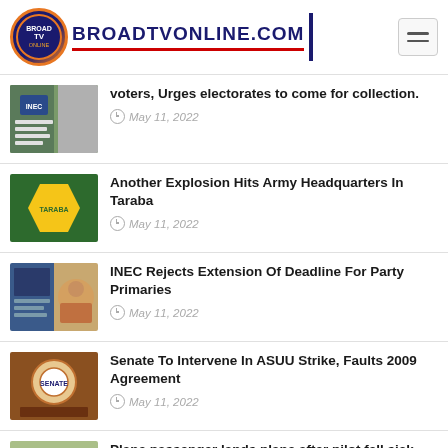[Figure (logo): BroadTVOnline.com website logo with circular emblem and text]
voters, Urges electorates to come for collection. May 11, 2022
Another Explosion Hits Army Headquarters In Taraba. May 11, 2022
INEC Rejects Extension Of Deadline For Party Primaries. May 11, 2022
Senate To Intervene In ASUU Strike, Faults 2009 Agreement. May 11, 2022
Plane passenger lands plane after pilot fell sick